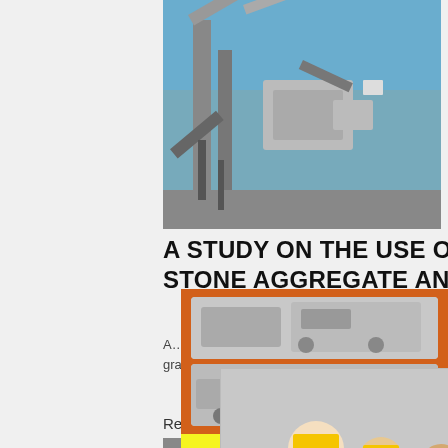[Figure (photo): Industrial stone crushing facility with conveyor belts and large machinery against blue sky]
A STUDY ON THE USE OF CRUSHED STONE AGGREGATE AND
A... any d... Crush... stone... the ag... such as 53mm, 26.5mm, 9.5mm etc. have ide... the gradation of stone aggregate ...
Read More
[Figure (photo): Industrial stone crushing and processing plant with orange equipment and silos]
[Figure (screenshot): Live chat popup with workers in hard hats, LIVE CHAT title in red, Chat now and Chat later buttons]
[Figure (photo): Right sidebar showing orange panel with mining machinery images, Enjoy 3% discount, Click to Chat, Enquiry, limingjlmofen@sina.com]